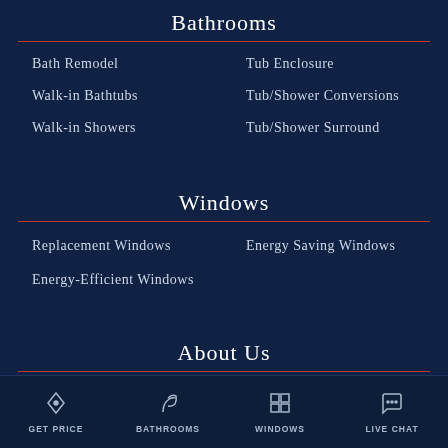Bathrooms
Bath Remodel
Tub Enclosure
Walk-in Bathtubs
Tub/Shower Conversions
Walk-in Showers
Tub/Shower Surround
Windows
Replacement Windows
Energy Saving Windows
Energy-Efficient Windows
About Us
GET PRICE  BATHROOMS  WINDOWS  LIVE CHAT